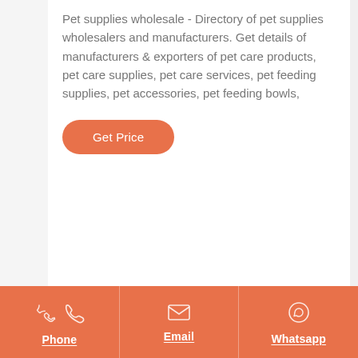Pet supplies wholesale - Directory of pet supplies wholesalers and manufacturers. Get details of manufacturers & exporters of pet care products, pet care supplies, pet care services, pet feeding supplies, pet accessories, pet feeding bowls,
[Figure (other): Orange rounded button labeled 'Get Price']
Phone | Email | Whatsapp